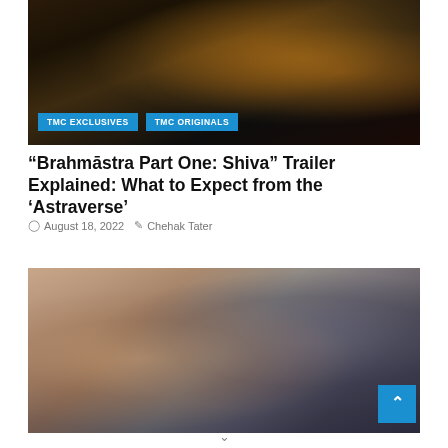[Figure (photo): A couple in a romantic scene with bokeh lights in the background, with two tag labels: TMC EXCLUSIVES and TMC ORIGINALS]
“Brahmāstra Part One: Shiva” Trailer Explained: What to Expect from the ‘Astraverse’
August 18, 2022   Chehak Tater
[Figure (photo): Two young East Asian actors (a woman with a bob haircut and a man) appear to be in a scene together, with a scroll-to-top button visible in the bottom right corner]